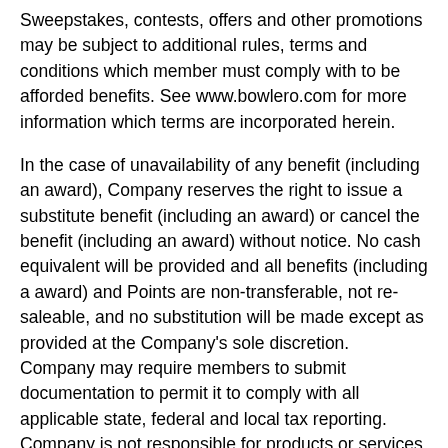Sweepstakes, contests, offers and other promotions may be subject to additional rules, terms and conditions which member must comply with to be afforded benefits. See www.bowlero.com for more information which terms are incorporated herein.
In the case of unavailability of any benefit (including an award), Company reserves the right to issue a substitute benefit (including an award) or cancel the benefit (including an award) without notice. No cash equivalent will be provided and all benefits (including a award) and Points are non-transferable, not re-saleable, and no substitution will be made except as provided at the Company's sole discretion. Company may require members to submit documentation to permit it to comply with all applicable state, federal and local tax reporting. Company is not responsible for products or services offered by other companies that may